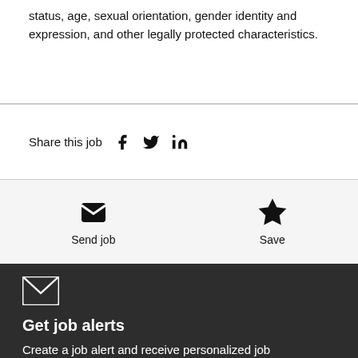status, age, sexual orientation, gender identity and expression, and other legally protected characteristics.
Share this job
Send job
Save
[Figure (other): Email envelope icon]
Get job alerts
Create a job alert and receive personalized job recommendations straight to your inbox.